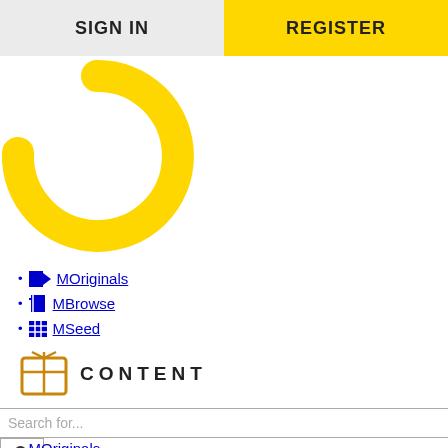SIGN IN | REGISTER
[Figure (other): Yellow circular loading spinner, partially complete arc shape]
MOriginals
MBrowse
MSeed
[Figure (logo): CONTENT logo with orange/yellow crate icon]
Search for...
MOriginals
MBrowse
MSeed